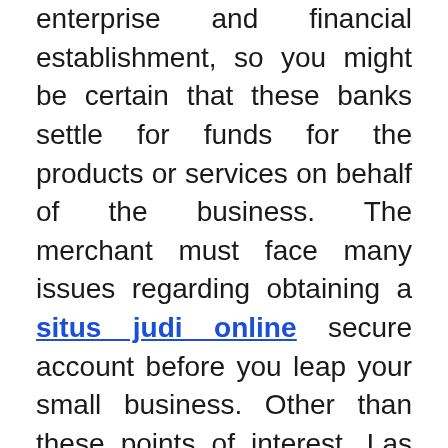enterprise and financial establishment, so you might be certain that these banks settle for funds for the products or services on behalf of the business. The merchant must face many issues regarding obtaining a situs judi online secure account before you leap your small business. Other than these points of interest, Las Vegas has much more to offer for a budget-pleasant vacation. That is amongst top-of-the-line free activities for kids in Las Vegas. Las Vegas's downtown Arts District is jam-full of creative activities.